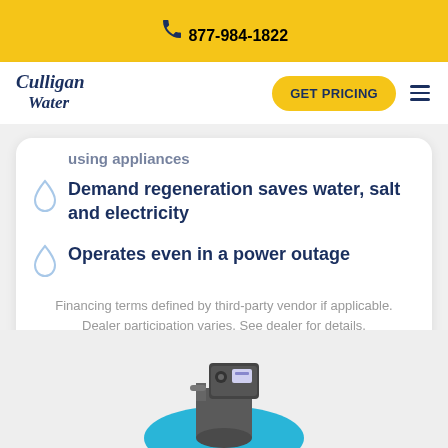877-984-1822
[Figure (logo): Culligan Water logo]
GET PRICING
using appliances
Demand regeneration saves water, salt and electricity
Operates even in a power outage
Financing terms defined by third-party vendor if applicable. Dealer participation varies. See dealer for details.
[Figure (photo): Culligan water softener unit partially visible at bottom of page]